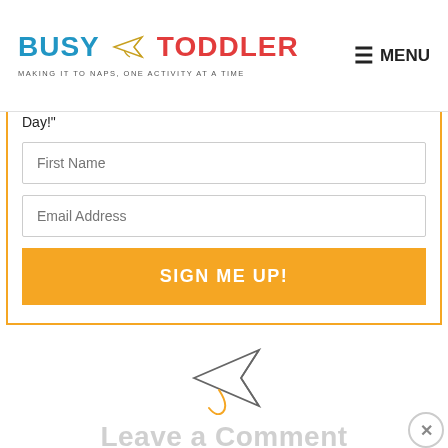BUSY TODDLER — MAKING IT TO NAPS, ONE ACTIVITY AT A TIME | MENU
Day!"
[Figure (screenshot): Sign-up form with First Name field, Email Address field, and SIGN ME UP! button inside a yellow-bordered box]
[Figure (illustration): Paper airplane icon drawn in outline style with a looping gold tail]
Leave a Comment
Your email address will not be published. Required